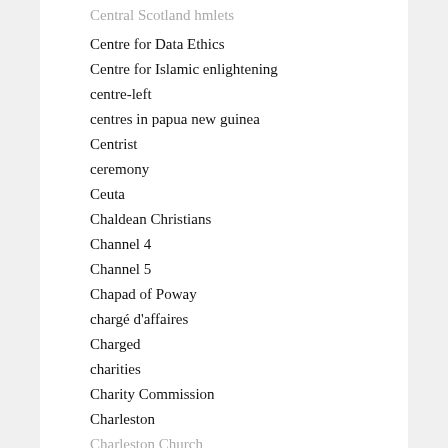Central Scotland hmlets
Centre for Data Ethics
Centre for Islamic enlightening
centre-left
centres in papua new guinea
Centrist
ceremony
Ceuta
Chaldean Christians
Channel 4
Channel 5
Chapad of Poway
chargé d'affaires
Charged
charities
Charity Commission
Charleston
Charleston Church